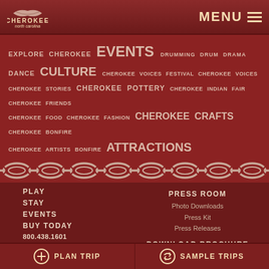[Figure (logo): Cherokee North Carolina logo with leaf motif and text]
MENU
[Figure (infographic): Word cloud/tag cloud with Cherokee-related terms: EXPLORE CHEROKEE EVENTS DRUMMING DRUM DRAMA DANCE CULTURE CHEROKEE VOICES FESTIVAL CHEROKEE VOICES CHEROKEE STORIES CHEROKEE POTTERY CHEROKEE INDIAN FAIR CHEROKEE FRIENDS CHEROKEE FOOD CHEROKEE FASHION CHEROKEE CRAFTS CHEROKEE BONFIRE CHEROKEE ARTISTS BONFIRE ATTRACTIONS]
[Figure (illustration): Decorative Cherokee geometric border pattern]
PLAY
STAY
EVENTS
BUY TODAY
800.438.1601
HOME
CONTACT
SITEMAP
PRESS ROOM
Photo Downloads
Press Kit
Press Releases
DOWNLOAD BROCHURE
PLAN TRIP
SAMPLE TRIPS